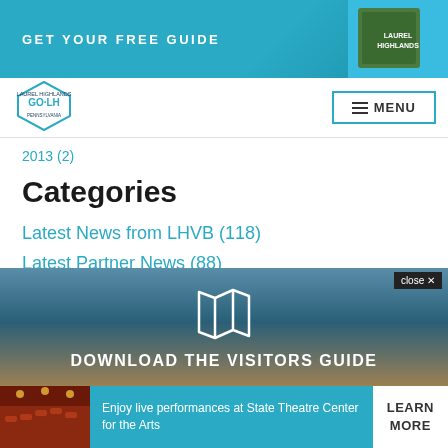GET YOUR FREE GUIDE
[Figure (logo): GO LH Laurel Highlands logo badge hexagon shaped]
≡ MENU
2013 (2)
Categories
Latest News from LHVB (118)
Latest Partner News (88)
WCNS Radio Show (21)
What Others Are Saying (387)
[Figure (infographic): Download the Visitors Guide panel with map icon, scenic sunset background]
DOWNLOAD THE VISITORS GUIDE
close ✕
Enjoy live performances at State Theatre Center for the Arts
LEARN MORE